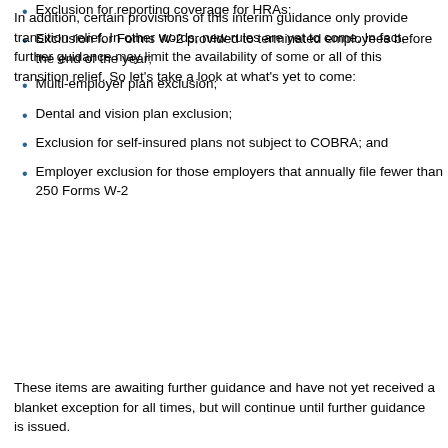In addition, certain provisions of this interim guidance only provide transition relief.  In other words, new rules are yet to come.  In fact, further guidance may limit the availability of some or all of this transition relief.  So let's take a look at what's yet to come:
Exclusion for reporting coverage for HRAs;
Exclusion for Forms W-2 provided to terminated employees before the end of the year;
Multi-employer plan exclusion;
Dental and vision plan exclusion;
Exclusion for self-insured plans not subject to COBRA; and
Employer exclusion for those employers that annually file fewer than 250 Forms W-2
These items are awaiting further guidance and have not yet received a blanket exception for all times, but will continue until further guidance is issued.